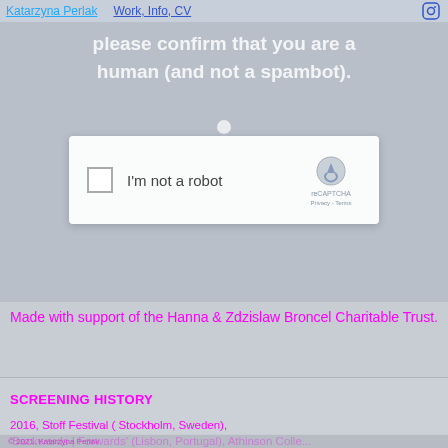Katarzyna Perlak   Work, Info, CV
[Figure (screenshot): A reCAPTCHA verification dialog overlaid on a grey blurred webpage background. The dialog has a white rounded box containing a checkbox on the left, the text 'I'm not a robot' in the center, and the reCAPTCHA logo on the right with 'reCAPTCHA Privacy - Terms' below it. The background text reads 'please confirm that you are a human (and not a spambot).']
Made with support of the Hanna & Zdzislaw Broncel Charitable Trust.
SCREENING HISTORY
2016 Stoff Festival ( Stockholm, Sweden), 'Backwards | Forwards' (Lisbon, Portugal), Athinson Colle...
© 2021, Katarzyna Perlak